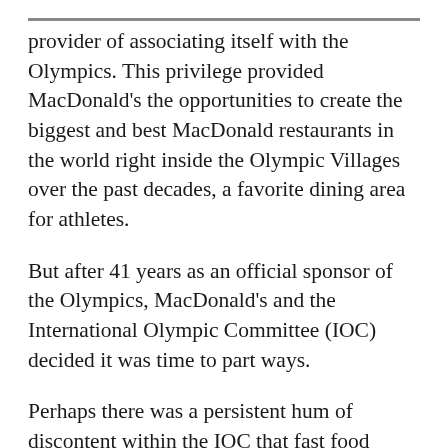provider of associating itself with the Olympics. This privilege provided MacDonald's the opportunities to create the biggest and best MacDonald restaurants in the world right inside the Olympic Villages over the past decades, a favorite dining area for athletes.
But after 41 years as an official sponsor of the Olympics, MacDonald's and the International Olympic Committee (IOC) decided it was time to part ways.
Perhaps there was a persistent hum of discontent within the IOC that fast food should not be seen as the fuel for so many healthy world-class athletes, which may have needled the executives of MacDonald's. “The brand relevance is simply not there anymore,” said Patrick Nally, one of the of the architects of the IOC’s revamped marketing model established in the 1980s. “At every games you see a storm of criticism in the media about McDonald’s being present at the